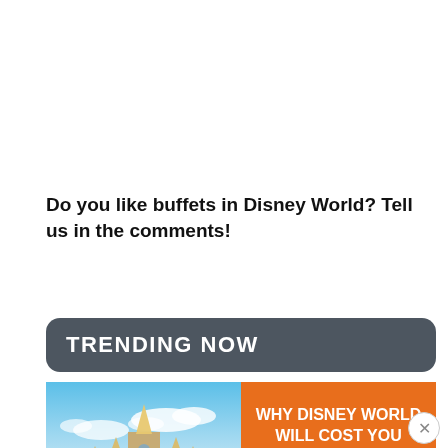Do you like buffets in Disney World? Tell us in the comments!
TRENDING NOW
[Figure (photo): Cinderella Castle at Disney World against blue sky with clouds]
WHY DISNEY WORLD WILL COST YOU THOUSANDS MORE IN 2023